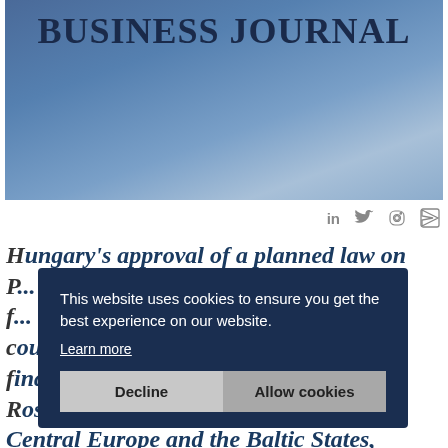[Figure (photo): Business Journal logo on blue gradient background header image]
BUSINESS JOURNAL
[Figure (infographic): Social media share icons: LinkedIn, Twitter, Facebook, Email]
Hungary's approval of a planned law on P... f... the country for global financial and capital markets. Christoph Rosenberg, IMF official responsible for Central Europe and the Baltic States, told MTI's Budapest Word...
This website uses cookies to ensure you get the best experience on our website. Learn more
Decline
Allow cookies